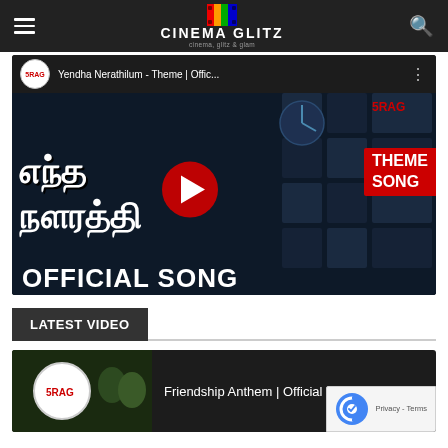CINEMA GLITZ — cinema, glitz & glam
[Figure (screenshot): YouTube video embed showing 'Yendha Nerathilum - Theme | Offic...' with SRAG channel logo, Tamil title text, YouTube play button, THEME SONG label in red, and OFFICIAL SONG text at bottom]
LATEST VIDEO
[Figure (screenshot): YouTube video thumbnail showing 'Friendship Anthem | Official Music...' with SRAG channel logo]